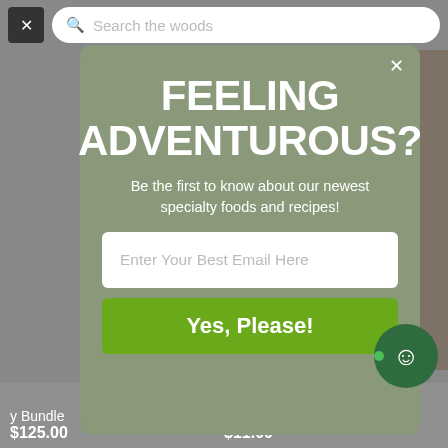[Figure (screenshot): Website background showing a top navigation bar with a close button and search field labeled 'Search the woods', a blurred product listing page below, and product names 'y Bundle' and 'Herbal Super 10 Stock Powder' with prices '$125.00' and '$11.00' visible at the bottom.]
FEELING ADVENTUROUS?
Be the first to know about our newest specialty foods and recipes!
Enter Your Best Email Here
Yes, Please!